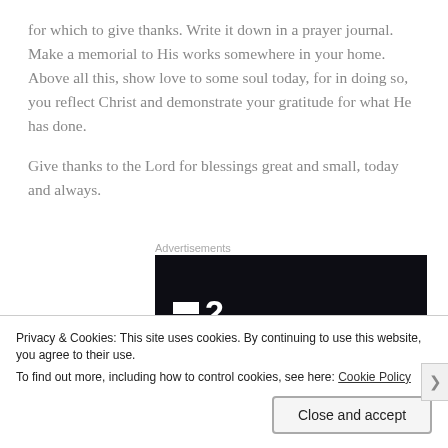for which to give thanks. Write it down in a prayer journal. Make a memorial to His works somewhere in your home. Above all this, show love to some soul today, for in doing so, you reflect Christ and demonstrate your gratitude for what He has done.
Give thanks to the Lord for blessings great and small, today and always.
[Figure (other): Advertisement banner showing a dark background with a stylized logo: two white rectangles forming an icon next to the number 2 in white text.]
Privacy & Cookies: This site uses cookies. By continuing to use this website, you agree to their use.
To find out more, including how to control cookies, see here: Cookie Policy
Close and accept